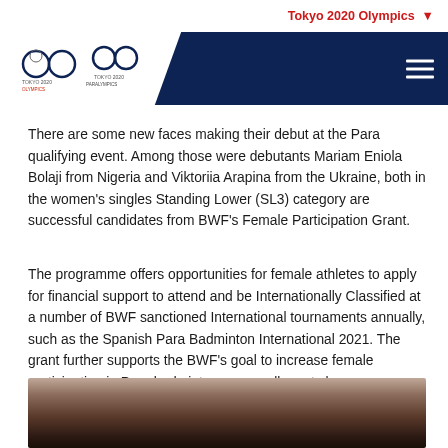Tokyo 2020 Olympics
[Figure (logo): Tokyo 2020 Olympics and Paralympics logos on white diagonal banner over dark navy header with hamburger menu]
There are some new faces making their debut at the Para qualifying event. Among those were debutants Mariam Eniola Bolaji from Nigeria and Viktoriia Arapina from the Ukraine, both in the women's singles Standing Lower (SL3) category are successful candidates from BWF's Female Participation Grant.
The programme offers opportunities for female athletes to apply for financial support to attend and be Internationally Classified at a number of BWF sanctioned International tournaments annually, such as the Spanish Para Badminton International 2021. The grant further supports the BWF's goal to increase female participation in Para badminton across all sport classes.
[Figure (photo): Blurred sports/badminton venue photograph showing audience and court area]